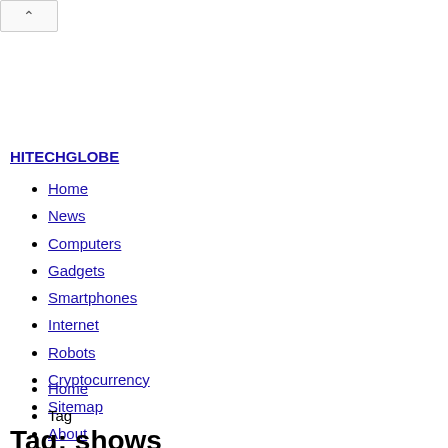[Figure (other): Up arrow button/chevron in a rounded rectangle at top left]
HITECHGLOBE
Home
News
Computers
Gadgets
Smartphones
Internet
Robots
Cryptocurrency
Sitemap
About
Home
Tag
Tag: shows